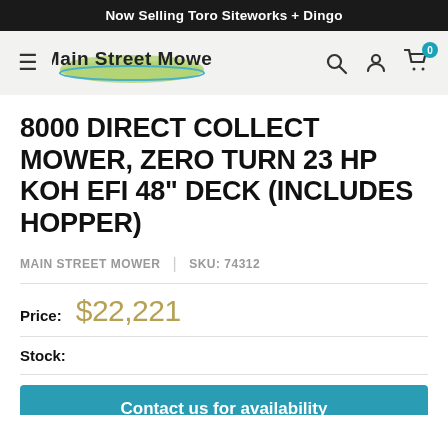Now Selling Toro Siteworks + Dingo
[Figure (logo): Main Street Mower logo with navigation bar including hamburger menu, search, account, and cart icons]
8000 DIRECT COLLECT MOWER, ZERO TURN 23 HP KOH EFI 48" DECK (INCLUDES HOPPER)
MAIN STREET MOWER | SKU: 74312
Price: $22,221
Stock:
Contact us for availability